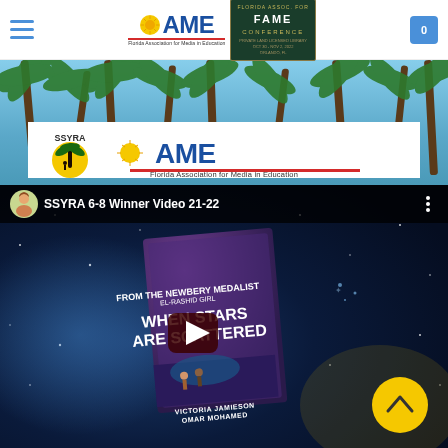FAME - Florida Association for Media in Education | FAME CONFERENCE
[Figure (photo): Banner with palm trees and SSYRA + FAME logos on white overlay]
[Figure (screenshot): YouTube video thumbnail: SSYRA 6-8 Winner Video 21-22 featuring book 'When Stars Are Scattered' by Victoria Jamieson and Omar Mohamed]